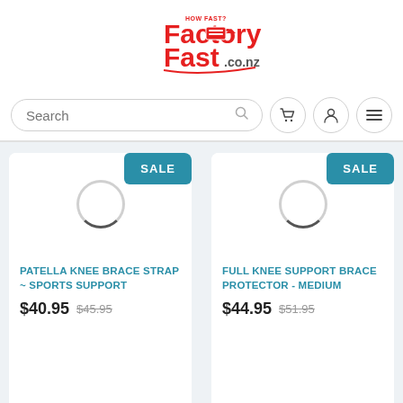[Figure (logo): FactoryFast.co.nz logo with red Factory Fast text and shopping cart graphic]
[Figure (screenshot): Search bar with magnifying glass icon, cart button, user button, and hamburger menu button]
[Figure (screenshot): Product card: PATELLA KNEE BRACE STRAP ~ SPORTS SUPPORT, loading spinner, SALE badge, price $40.95 was $45.95]
[Figure (screenshot): Product card: FULL KNEE SUPPORT BRACE PROTECTOR - MEDIUM, loading spinner, SALE badge, price $44.95 was $51.95]